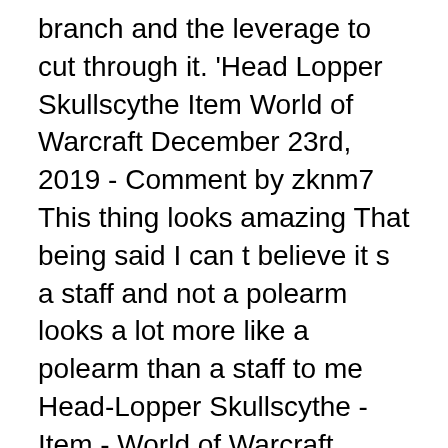branch and the leverage to cut through it. 'Head Lopper Skullscythe Item World of Warcraft December 23rd, 2019 - Comment by zknm7 This thing looks amazing That being said I can t believe it s a staff and not a polearm looks a lot more like a polearm than a staff to me Head-Lopper Skullscythe - Item - World of Warcraft Loppers are long-handled pruners with strong cutting jaws for pruning thick plant stems and small tree branches.
Head Lopper Amazon co uk Andrew MacLean 9781632158864. Head Lopper 12 And the Knights of Venora Part 4 of 4. Review Head Lopper 12 Image Comics Word of The Nerd. Head Lopper Skullscythe Item World of Warcraft. Head Lopper Viewcomic reading comics online for free 2019.
Hydraulik service stockholm